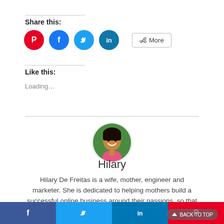Share this:
[Figure (infographic): Social share buttons: Pinterest (red circle), Facebook (blue circle), Twitter (light blue circle), LinkedIn (teal circle), and a More button with share icon]
Like this:
Loading…
[Figure (photo): Circular avatar photo of Hilary De Freitas, a woman smiling, with green foliage background]
Hilary
Hilary De Freitas is a wife, mother, engineer and marketer. She is dedicated to helping mothers build a successful online business around their passions, so that they don't have to choose between career and family.
[Figure (infographic): Bottom share bar with Facebook, Twitter, LinkedIn, Pinterest buttons and a back-to-top arrow button]